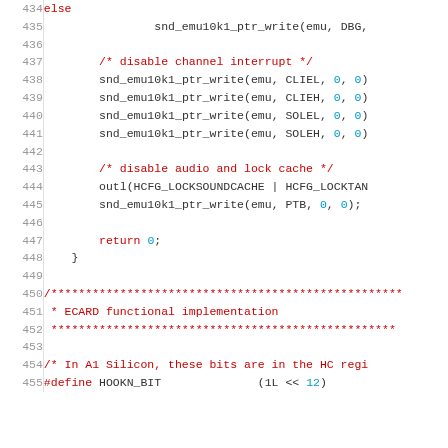Source code listing showing lines 434-455 of a C source file (Linux kernel audio driver emu10k1). Contains code to disable channel interrupts, disable audio and lock cache, return statement, closing brace, comment block for ECARD functional implementation, and a #define for HOOKN_BIT.